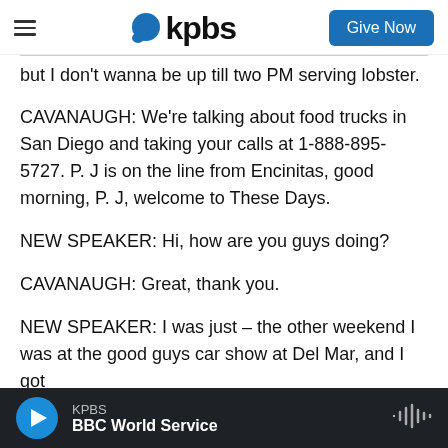kpbs | Give Now
but I don't wanna be up till two PM serving lobster.
CAVANAUGH: We're talking about food trucks in San Diego and taking your calls at 1-888-895-5727. P. J is on the line from Encinitas, good morning, P. J, welcome to These Days.
NEW SPEAKER: Hi, how are you guys doing?
CAVANAUGH: Great, thank you.
NEW SPEAKER: I was just – the other weekend I was at the good guys car show at Del Mar, and I got
KPBS BBC World Service